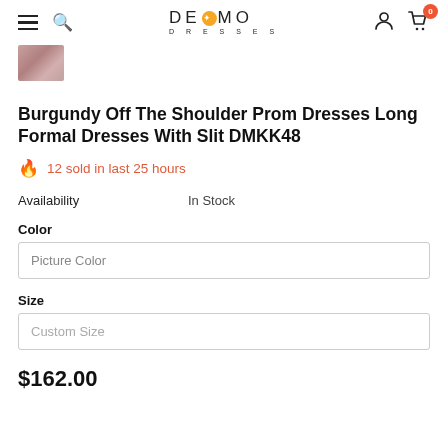DE MO DRESSES — navigation header with hamburger menu, search, logo, user icon, cart (0)
[Figure (photo): Small thumbnail image of a burgundy dress]
Burgundy Off The Shoulder Prom Dresses Long Formal Dresses With Slit DMKK48
🔥 12 sold in last 25 hours
Availability   In Stock
Color
Picture Color
Size
Custom Size
$162.00